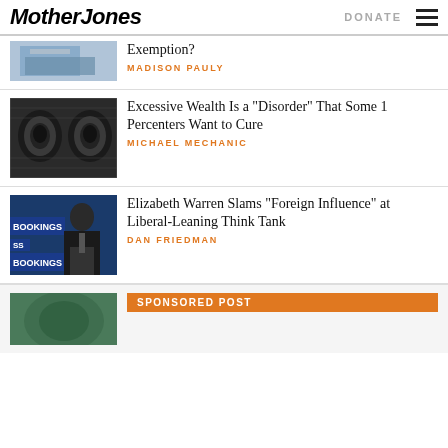Mother Jones | DONATE
[Figure (photo): Partial article image at top]
Exemption?
MADISON PAULY
[Figure (photo): Close-up of Benjamin Franklin on currency bill]
Excessive Wealth Is a “Disorder” That Some 1 Percenters Want to Cure
MICHAEL MECHANIC
[Figure (photo): Man speaking at Brookings Institution podium]
Elizabeth Warren Slams “Foreign Influence” at Liberal-Leaning Think Tank
DAN FRIEDMAN
[Figure (photo): Sponsored post image]
SPONSORED POST